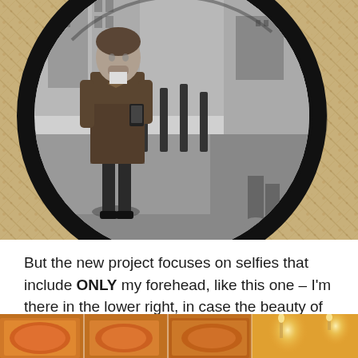[Figure (photo): A black and white mirror selfie photograph. A man wearing a long dark coat is photographing himself in a round black-framed mirror mounted on a stone/granite wall. The upper right of the mirror shows a street scene reflection. The person appears in the lower right of the mirror. The wall below and around the mirror is granite/stone texture.]
But the new project focuses on selfies that include ONLY my forehead, like this one – I'm there in the lower right, in case the beauty of the rest of the shot has obscured me!
[Figure (photo): Bottom portion of a photograph showing what appears to be colorful food items (orange/red colored dishes or food) with candle lights visible, cropped at the bottom of the page.]